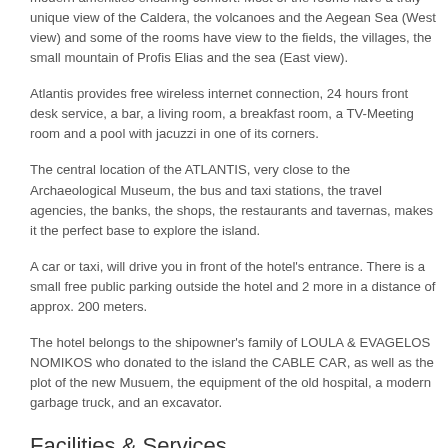modern amenities ensuring comfort. Most of the rooms have a truly unique view of the Caldera, the volcanoes and the Aegean Sea (West view) and some of the rooms have view to the fields, the villages, the small mountain of Profis Elias and the sea (East view).
Atlantis provides free wireless internet connection, 24 hours front desk service, a bar, a living room, a breakfast room, a TV-Meeting room and a pool with jacuzzi in one of its corners.
The central location of the ATLANTIS, very close to the Archaeological Museum, the bus and taxi stations, the travel agencies, the banks, the shops, the restaurants and tavernas, makes it the perfect base to explore the island.
A car or taxi, will drive you in front of the hotel's entrance. There is a small free public parking outside the hotel and 2 more in a distance of approx. 200 meters.
The hotel belongs to the shipowner's family of LOULA & EVAGELOS NOMIKOS who donated to the island the CABLE CAR, as well as the plot of the new Musuem, the equipment of the old hospital, a modern garbage truck, and an excavator.
Facilities & Services
24 Hour Reception / Front Desk